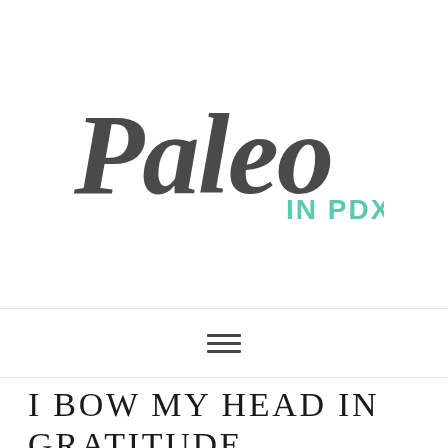[Figure (logo): Paleo in PDX blog logo — 'Paleo' in dark gray hand-lettered script, 'IN PDX' in teal sans-serif capitals]
I BOW MY HEAD IN GRATITUDE